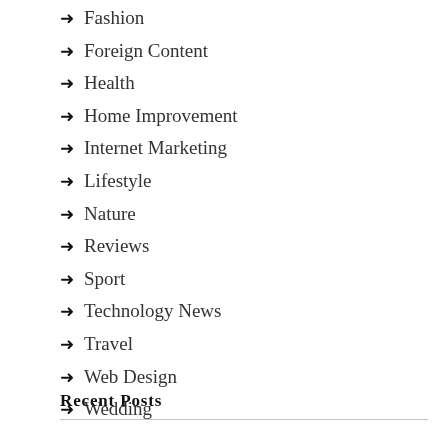Fashion
Foreign Content
Health
Home Improvement
Internet Marketing
Lifestyle
Nature
Reviews
Sport
Technology News
Travel
Web Design
Wedding
Recent Posts